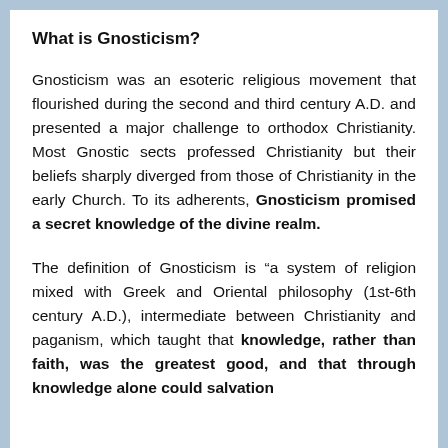What is Gnosticism?
Gnosticism was an esoteric religious movement that flourished during the second and third century A.D. and presented a major challenge to orthodox Christianity. Most Gnostic sects professed Christianity but their beliefs sharply diverged from those of Christianity in the early Church. To its adherents, Gnosticism promised a secret knowledge of the divine realm.
The definition of Gnosticism is “a system of religion mixed with Greek and Oriental philosophy (1st-6th century A.D.), intermediate between Christianity and paganism, which taught that knowledge, rather than faith, was the greatest good, and that through knowledge alone could salvation